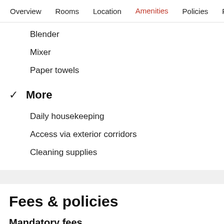Overview  Rooms  Location  Amenities  Policies  Reviews
Blender
Mixer
Paper towels
✓ More
Daily housekeeping
Access via exterior corridors
Cleaning supplies
Fees & policies
Mandatory fees
You'll be asked to pay the following charges by the property at check-in or check-out: